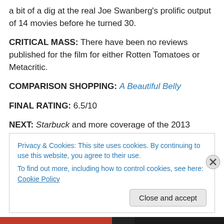a bit of a dig at the real Joe Swanberg's prolific output of 14 movies before he turned 30.
CRITICAL MASS: There have been no reviews published for the film for either Rotten Tomatoes or Metacritic.
COMPARISON SHOPPING: A Beautiful Belly
FINAL RATING: 6.5/10
NEXT: Starbuck and more coverage of the 2013 Florida Film Festival!
Privacy & Cookies: This site uses cookies. By continuing to use this website, you agree to their use. To find out more, including how to control cookies, see here: Cookie Policy